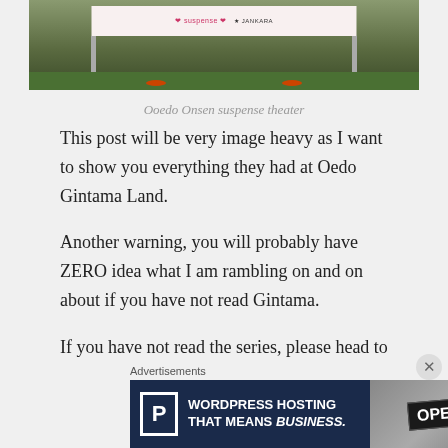[Figure (photo): Outdoor billboard/sign for Ooedo Onsen suspense theater, mounted on poles in a grassy area]
Ooedo Onsen suspense theater
This post will be very image heavy as I want to show you everything they had at Oedo Gintama Land.
Another warning, you will probably have ZERO idea what I am rambling on and on about if you have not read Gintama.
If you have not read the series, please head to your nearest comic bookstore and buy yourself the books. If all fails, there are the *cough* pirated versions online
Advertisements
[Figure (screenshot): WordPress hosting advertisement banner: 'WORDPRESS HOSTING THAT MEANS BUSINESS.' with P icon on dark blue background and an OPEN sign photo on the right]